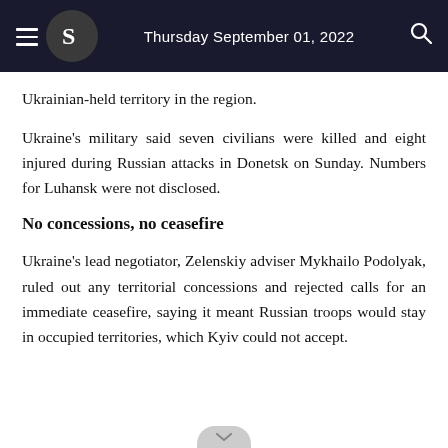Thursday September 01, 2022
Ukrainian-held territory in the region.
Ukraine's military said seven civilians were killed and eight injured during Russian attacks in Donetsk on Sunday. Numbers for Luhansk were not disclosed.
No concessions, no ceasefire
Ukraine's lead negotiator, Zelenskiy adviser Mykhailo Podolyak, ruled out any territorial concessions and rejected calls for an immediate ceasefire, saying it meant Russian troops would stay in occupied territories, which Kyiv could not accept.